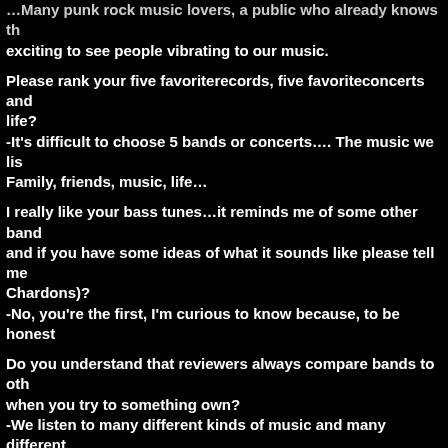…Many punk rock music lovers, a public who already knows the… exciting to see people vibrating to our music.
Please rank your five favoriterecords, five favoriteconcerts and life?
-It's difficult to choose 5 bands or concerts…. The music we lis… Family, friends, music, life…
I really like your bass tunes…it reminds me of some other band… and if you have some ideas of what it sounds like please tell me… Chardons)?
-No, you're the first, I'm curious to know because, to be honest…
Do you understand that reviewers always compare bands to oth… when you try to something own?
-We listen to many different kinds of music and many different… let's gonna do that…" We just make music as we feel it, and th… final result. Almost everything has been created in music, and i… from all that already exists. Anyway, if our music sounds like a… purely unconscious.
Futureplans for the band?
-A video by the end of the year and a 12-song album in 2015.
For yourself?
-Video and an album.